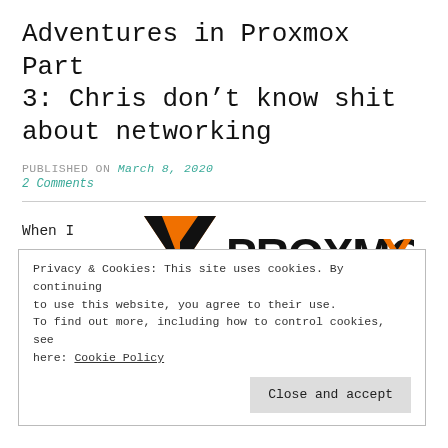Adventures in Proxmox Part 3: Chris don’t know shit about networking
PUBLISHED ON March 8, 2020
2 Comments
When I
first
started
[Figure (logo): Proxmox logo with orange X and bold black text PROXMOX]
Privacy & Cookies: This site uses cookies. By continuing to use this website, you agree to their use. To find out more, including how to control cookies, see here: Cookie Policy
Close and accept